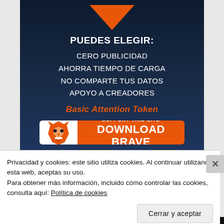[Figure (illustration): Brave browser advertisement banner on dark navy background with orange downward arrow at top, text 'PUEDES ELEGIR:' followed by features list and orange Download Brave button with lion logo]
Privacidad y cookies: este sitio utiliza cookies. Al continuar utilizando esta web, aceptas su uso.
Para obtener más información, incluido cómo controlar las cookies, consulta aquí: Política de cookies
Cerrar y aceptar